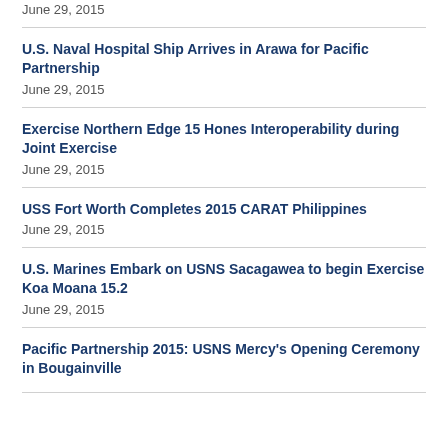June 29, 2015
U.S. Naval Hospital Ship Arrives in Arawa for Pacific Partnership
June 29, 2015
Exercise Northern Edge 15 Hones Interoperability during Joint Exercise
June 29, 2015
USS Fort Worth Completes 2015 CARAT Philippines
June 29, 2015
U.S. Marines Embark on USNS Sacagawea to begin Exercise Koa Moana 15.2
June 29, 2015
Pacific Partnership 2015: USNS Mercy's Opening Ceremony in Bougainville